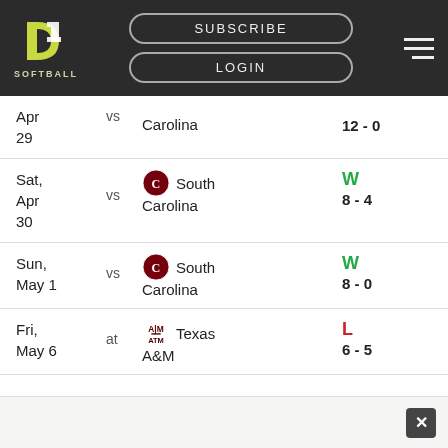D1 SOFTBALL — SUBSCRIBE | LOGIN
Apr 29 vs Carolina 12 - 0
Sat, Apr 30 vs South Carolina W 8 - 4
Sun, May 1 vs South Carolina W 8 - 0
Fri, May 6 at Texas A&M L 6 - 5